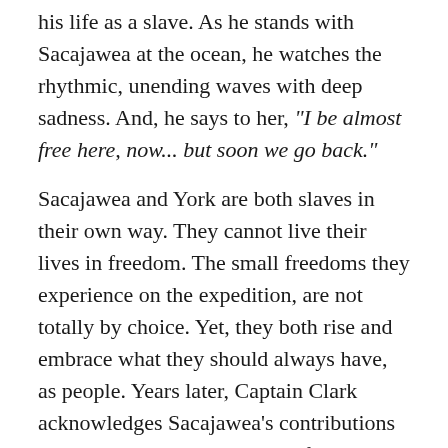his life as a slave. As he stands with Sacajawea at the ocean, he watches the rhythmic, unending waves with deep sadness. And, he says to her, "I be almost free here, now... but soon we go back."
Sacajawea and York are both slaves in their own way. They cannot live their lives in freedom. The small freedoms they experience on the expedition, are not totally by choice. Yet, they both rise and embrace what they should always have, as people. Years later, Captain Clark acknowledges Sacajawea's contributions and eventually gives York his freedom.
As with so many over the Ages, the treatment of these two human beings was not acceptable. But, our story shows the relationships and how the soldiers, in that snapshot of history, were able to accept them as individuals, even though it was out